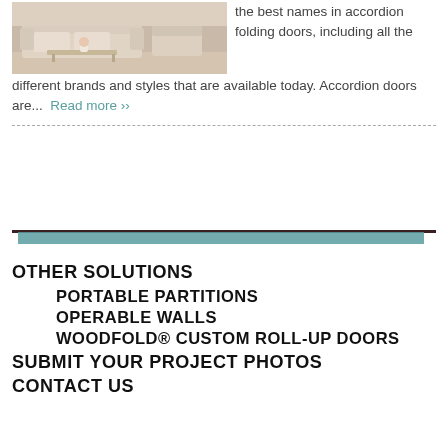[Figure (photo): Living room with sofa and furniture]
the best names in accordion folding doors, including all the different brands and styles that are available today. Accordion doors are...
Read more ›› (link)
[Figure (other): Decorative teal bar with dark line above it]
OTHER SOLUTIONS
PORTABLE PARTITIONS
OPERABLE WALLS
WOODFOLD® CUSTOM ROLL-UP DOORS
SUBMIT YOUR PROJECT PHOTOS
CONTACT US